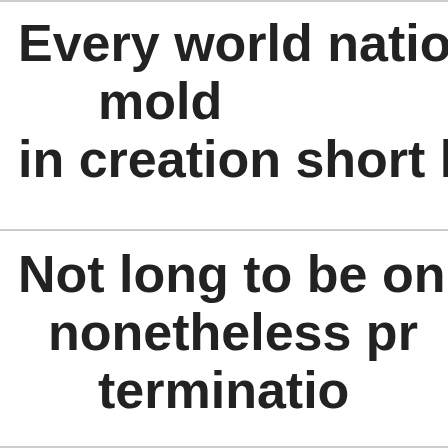Every world nation le… mold… in creation short life s…
Not long to be on p… nonetheless pr… terminatio…